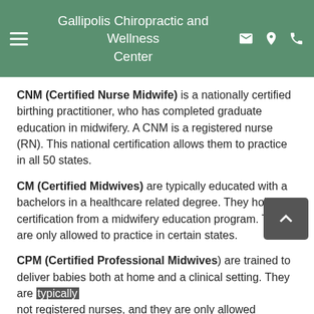Gallipolis Chiropractic and Wellness Center
CNM (Certified Nurse Midwife) is a nationally certified birthing practitioner, who has completed graduate education in midwifery. A CNM is a registered nurse (RN). This national certification allows them to practice in all 50 states.
CM (Certified Midwives) are typically educated with a bachelors in a healthcare related degree. They hold certification from a midwifery education program. They are only allowed to practice in certain states.
CPM (Certified Professional Midwives) are trained to deliver babies both at home and a clinical setting. They are typically not registered nurses, and they are only allowed to practice in certain states.
Midwives can practice in many different birthing settings. They work in hospitals, birthing centers, and can even deliver